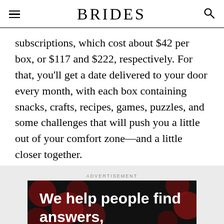BRIDES
subscriptions, which cost about $42 per box, or $117 and $222, respectively. For that, you'll get a date delivered to your door every month, with each box containing snacks, crafts, recipes, games, puzzles, and some challenges that will push you a little out of your comfort zone—and a little closer together.
ADVERTISEMENT
[Figure (infographic): Dark advertisement banner with red polka dots and bold white text reading 'We help people find answers,' with a bottom bar showing Dotdash Meredith branding and the tagline 'We help people find answers, solve problems and get inspired.']